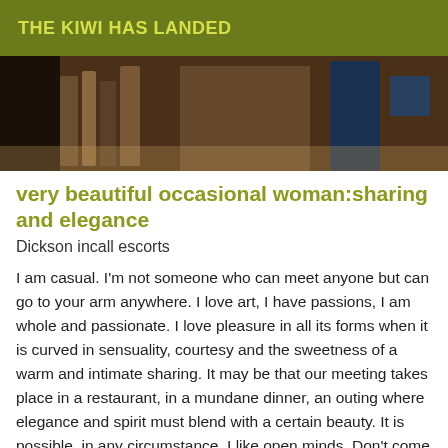THE KIWI HAS LANDED
[Figure (photo): Partial view of a person in a dark setting with bookshelves in the background]
very beautiful occasional woman:sharing and elegance
Dickson incall escorts
I am casual. I'm not someone who can meet anyone but can go to your arm anywhere. I love art, I have passions, I am whole and passionate. I love pleasure in all its forms when it is curved in sensuality, courtesy and the sweetness of a warm and intimate sharing. It may be that our meeting takes place in a restaurant, in a mundane dinner, an outing where elegance and spirit must blend with a certain beauty. It is possible, in any circumstance. I like open minds. Don't come to me if you think that women are interchangeable, if you believe that pleasure can be bought, if you believe that you can buy